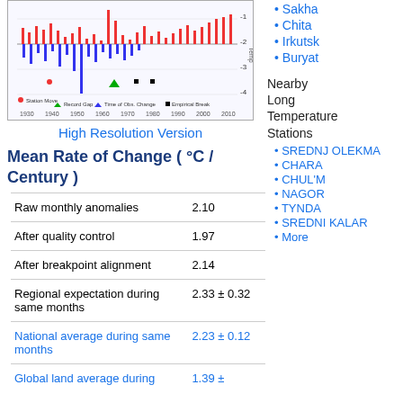[Figure (continuous-plot): Berkeley Earth temperature anomaly chart showing data from 1920s to 2010s with red/blue bars, legend for Station Move, Record Gap, Time of Obs. Change, Empirical Break, and y-axis from -4 to -1]
High Resolution Version
Mean Rate of Change ( °C / Century )
| Raw monthly anomalies | 2.10 |
| After quality control | 1.97 |
| After breakpoint alignment | 2.14 |
| Regional expectation during same months | 2.33 ± 0.32 |
| National average during same months | 2.23 ± 0.12 |
| Global land average during | 1.39 ± |
Sakha
Chita
Irkutsk
Buryat
Nearby Long Temperature Stations
SREDNJ OLEKMA
CHARA
CHUL'M
NAGOR
TYNDA
SREDNI KALAR
More